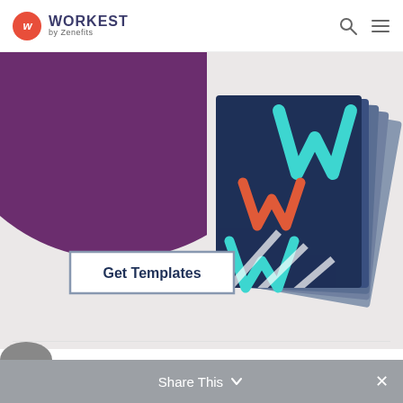WORKEST by Zenefits
[Figure (illustration): Workest by Zenefits promotional banner with purple curved background, Get Templates button, and stacked dark blue document/book icons with W logo marks in teal, orange, and white.]
Share This